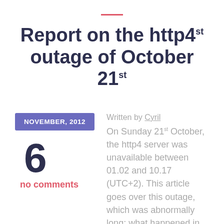Report on the http4 outage of October 21st
NOVEMBER, 2012
Written by Cyril
6
no comments
On Sunday 21st October, the http4 server was unavailable between 01.02 and 10.17 (UTC+2). This article goes over this outage, which was abnormally long: what happened in detail, what we are going to do to ensure that it doesn't happen again, and clarifications...